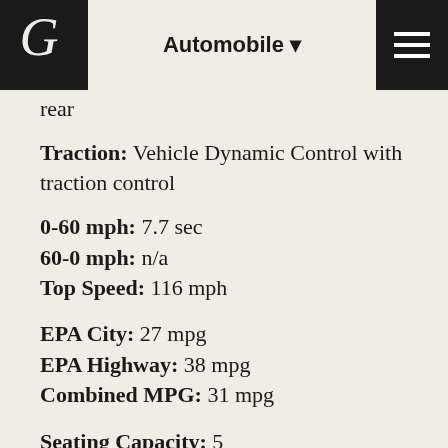Automobile
rear
Traction: Vehicle Dynamic Control with traction control
0-60 mph: 7.7 sec
60-0 mph: n/a
Top Speed: 116 mph
EPA City: 27 mpg
EPA Highway: 38 mpg
Combined MPG: 31 mpg
Seating Capacity: 5
Safety: front airbags, front side